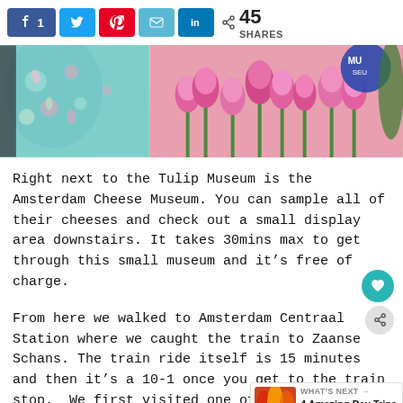[Figure (infographic): Social sharing bar with Facebook (1), Twitter, Pinterest, Email, LinkedIn buttons and share count of 45]
[Figure (photo): Hero image showing a floral fabric/scarf on the left side and pink tulips with a blue museum sign in the background on the right]
Right next to the Tulip Museum is the Amsterdam Cheese Museum. You can sample all of their cheeses and check out a small display area downstairs. It takes 30mins max to get through this small museum and it's free of charge.
From here we walked to Amsterdam Centraal Station where we caught the train to Zaanse Schans. The train ride itself is 15 minutes and then it's a 10-1 once you get to the train stop.  We first visited one of the working windmills that you can actually walk up to the